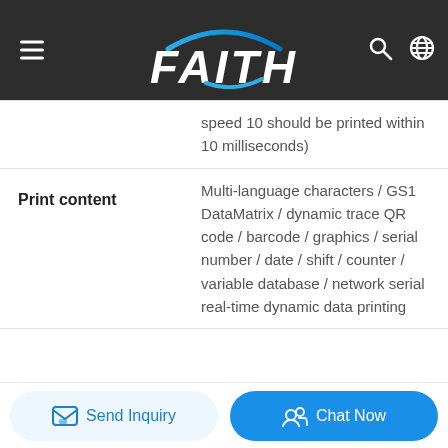FAITH
|  |  |
| --- | --- |
|  | speed 10 should be printed within 10 milliseconds) |
| Print content | Multi-language characters / GS1 DataMatrix / dynamic trace QR code / barcode / graphics / serial number / date / shift / counter / variable database / network serial real-time dynamic data printing |
Send Inquiry  Chat Now